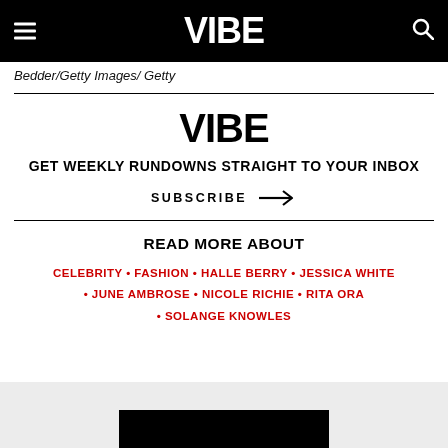VIBE
Bedder/Getty Images/ Getty
[Figure (logo): VIBE logo in bold black text centered]
GET WEEKLY RUNDOWNS STRAIGHT TO YOUR INBOX
SUBSCRIBE →
READ MORE ABOUT
CELEBRITY • FASHION • HALLE BERRY • JESSICA WHITE • JUNE AMBROSE • NICOLE RICHIE • RITA ORA • SOLANGE KNOWLES